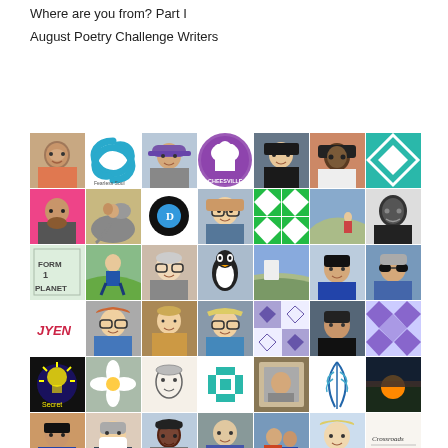Where are you from? Part I
August Poetry Challenge Writers
[Figure (photo): A 7x8 grid collage of profile photos and avatar icons representing August Poetry Challenge Writers]